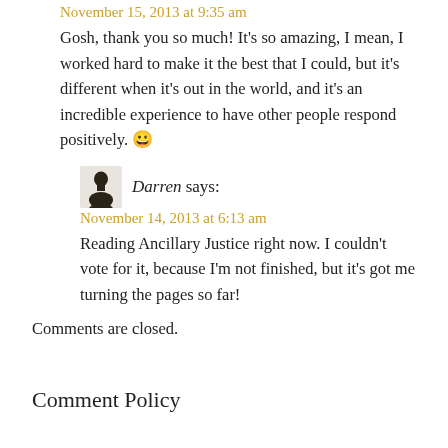November 15, 2013 at 9:35 am
Gosh, thank you so much! It’s so amazing, I mean, I worked hard to make it the best that I could, but it’s different when it’s out in the world, and it’s an incredible experience to have other people respond positively. 😀
[Figure (illustration): Avatar icon of commenter Darren — a stylized black silhouette figure]
Darren says:
November 14, 2013 at 6:13 am
Reading Ancillary Justice right now. I couldn’t vote for it, because I’m not finished, but it’s got me turning the pages so far!
Comments are closed.
Comment Policy